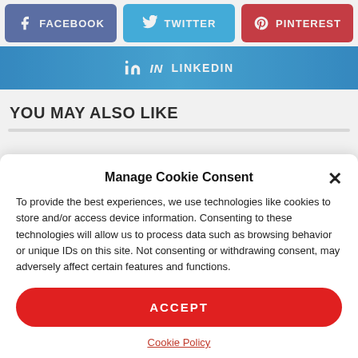[Figure (infographic): Social media share buttons: Facebook (blue-purple), Twitter (light blue), Pinterest (red)]
[Figure (infographic): LinkedIn share button with gradient blue background]
YOU MAY ALSO LIKE
[Figure (screenshot): Cookie consent modal dialog with title 'Manage Cookie Consent', close button (X), body text about cookies, Accept button in red, and Cookie Policy link]
Manage Cookie Consent
To provide the best experiences, we use technologies like cookies to store and/or access device information. Consenting to these technologies will allow us to process data such as browsing behavior or unique IDs on this site. Not consenting or withdrawing consent, may adversely affect certain features and functions.
ACCEPT
Cookie Policy